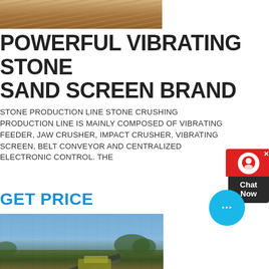[Figure (photo): Aerial/close-up photo of sandy/gravelly terrain at the top of the page]
POWERFUL VIBRATING STONE SAND SCREEN BRAND
STONE PRODUCTION LINE STONE CRUSHING PRODUCTION LINE IS MAINLY COMPOSED OF VIBRATING FEEDER, JAW CRUSHER, IMPACT CRUSHER, VIBRATING SCREEN, BELT CONVEYOR AND CENTRALIZED ELECTRONIC CONTROL. THE
GET PRICE
[Figure (photo): Outdoor industrial stone crushing / screening plant with conveyor belts, machinery structures, yellow hoppers, and red-brown dirt ground under blue sky]